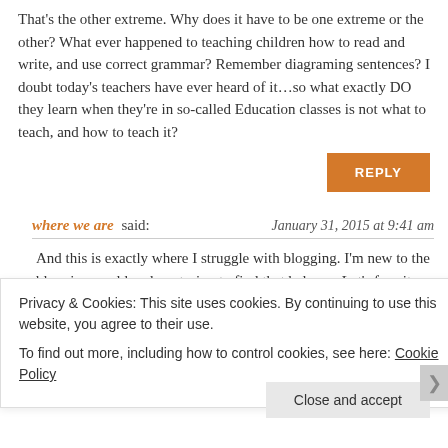That's the other extreme. Why does it have to be one extreme or the other? What ever happened to teaching children how to read and write, and use correct grammar? Remember diagraming sentences? I doubt today's teachers have ever heard of it...so what exactly DO they learn when they're in so-called Education classes is not what to teach, and how to teach it?
REPLY
where we are said: January 31, 2015 at 9:41 am
And this is exactly where I struggle with blogging. I'm new to the blogging world and am trying to find that balance. Let's face it, no one can write a well researched, thought...
Privacy & Cookies: This site uses cookies. By continuing to use this website, you agree to their use.
To find out more, including how to control cookies, see here: Cookie Policy
Close and accept